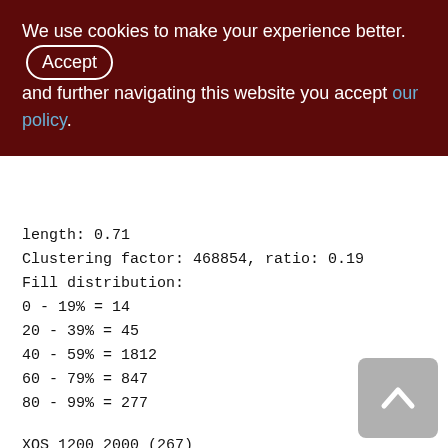We use cookies to make your experience better. By accepting and further navigating this website you accept our policy.
length: 0.71
Clustering factor: 468854, ratio: 0.19
Fill distribution:
0 - 19% = 14
20 - 39% = 45
40 - 59% = 1812
60 - 79% = 847
80 - 99% = 277
XQS_1200_2000 (267)
Primary pointer page: 750, Index root page: 751
Total formats: 1, used formats: 1